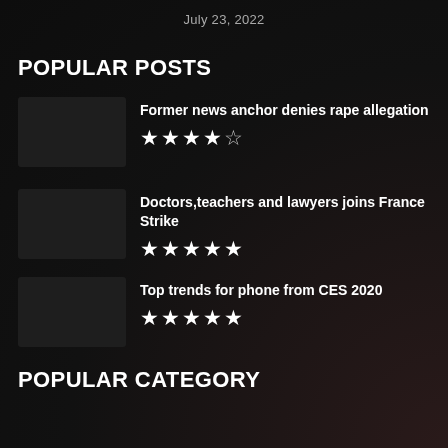July 23, 2022
POPULAR POSTS
Former news anchor denies rape allegation ★★★★½
Doctors,teachers and lawyers joins France Strike ★★★★★
Top trends for phone from CES 2020 ★★★★★
POPULAR CATEGORY